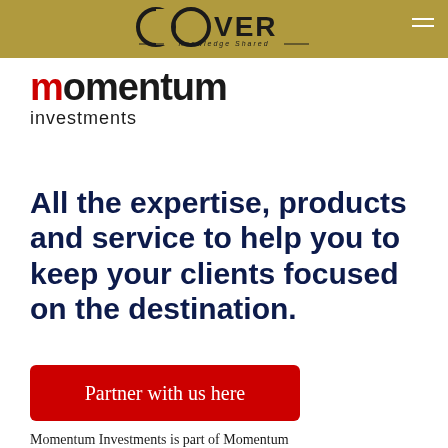COVER Knowledge Shared
[Figure (logo): Momentum Investments logo — 'momentum' in large text with red 'm', 'investments' below in smaller text]
All the expertise, products and service to help you to keep your clients focused on the destination.
Partner with us here
Momentum Investments is part of Momentum